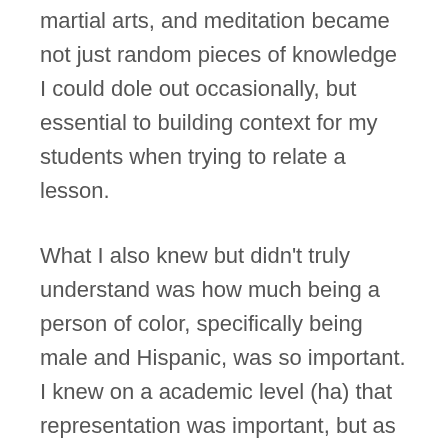martial arts, and meditation became not just random pieces of knowledge I could dole out occasionally, but essential to building context for my students when trying to relate a lesson.
What I also knew but didn't truly understand was how much being a person of color, specifically being male and Hispanic, was so important. I knew on a academic level (ha) that representation was important, but as I never had a teacher who looked like me growing up, I didn't understand. Today, according to the National Center of Education